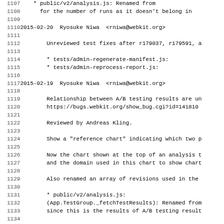Changelog / source code log lines 1107-1139 showing git/svn commit history for WebKit project